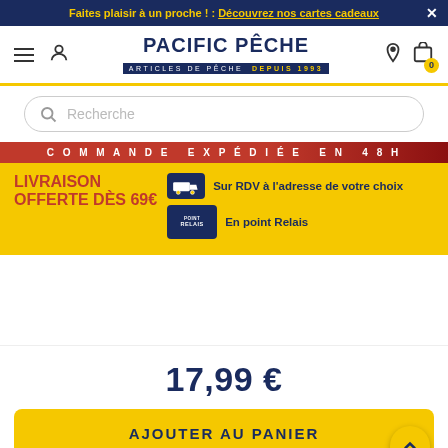Faites plaisir à un proche ! : Découvrez nos cartes cadeaux
[Figure (screenshot): Pacific Pêche website navigation header with hamburger menu, user icon, Pacific Pêche logo, location pin, and cart icon with badge 0]
Recherche
[Figure (infographic): Promo banner: COMMANDE EXPÉDIÉE EN 48H, LIVRAISON OFFERTE DÈS 69€, Sur RDV à l'adresse de votre choix, En point Relais]
17,99 €
AJOUTER AU PANIER